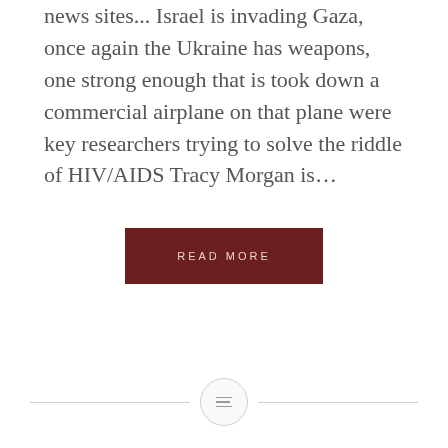news sites... Israel is invading Gaza, once again the Ukraine has weapons, one strong enough that is took down a commercial airplane on that plane were key researchers trying to solve the riddle of HIV/AIDS Tracy Morgan is...
READ MORE
[Figure (other): Horizontal divider line with a centered circle containing a text/menu icon]
scrutiny
Anyone in the public eye is forced to have their complete life susceptible to prying eyes. The public is seeing the C-